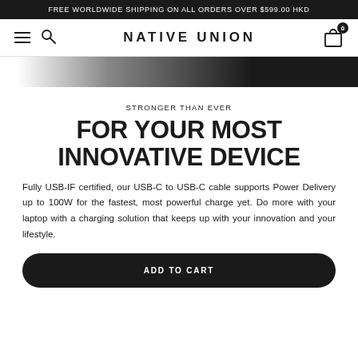FREE WORLDWIDE SHIPPING ON ALL ORDERS OVER $599.00 HKD
[Figure (screenshot): Navigation bar with hamburger menu, search icon, NATIVE UNION brand logo, and cart icon with 0 badge]
[Figure (photo): Partial product image showing a dark cable against white background]
STRONGER THAN EVER
FOR YOUR MOST INNOVATIVE DEVICE
Fully USB-IF certified, our USB-C to USB-C cable supports Power Delivery up to 100W for the fastest, most powerful charge yet. Do more with your laptop with a charging solution that keeps up with your innovation and your lifestyle.
ADD TO CART